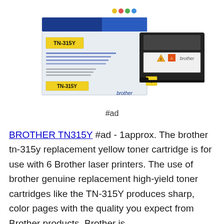[Figure (photo): Brother TN-315Y high-yield yellow toner cartridge product photo showing the box and the cartridge side by side on a white background.]
#ad
BROTHER TN315Y #ad - 1approx. The brother tn-315y replacement yellow toner cartridge is for use with 6 Brother laser printers. The use of brother genuine replacement high-yield toner cartridges like the TN-315Y produces sharp, color pages with the quality you expect from Brother products. Brother is